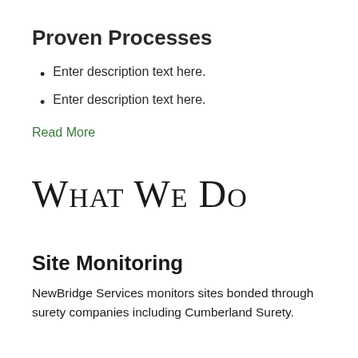Proven Processes
Enter description text here.
Enter description text here.
Read More
What We Do
Site Monitoring
NewBridge Services monitors sites bonded through surety companies including Cumberland Surety.